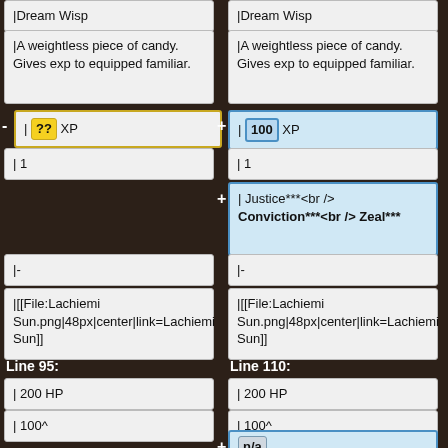|Dream Wisp
|Dream Wisp
|A weightless piece of candy. Gives exp to equipped familiar.
|A weightless piece of candy. Gives exp to equipped familiar.
| ?? XP
| 100 XP
| 1
| 1
| Justice***<br /> Conviction***<br /> Zeal***
|-
|-
|[[File:Lachiemi Sun.png|48px|center|link=Lachiemi Sun]]
|[[File:Lachiemi Sun.png|48px|center|link=Lachiemi Sun]]
Line 95:
Line 110:
| 200 HP
| 200 HP
| 100^
| 100^
| n/a